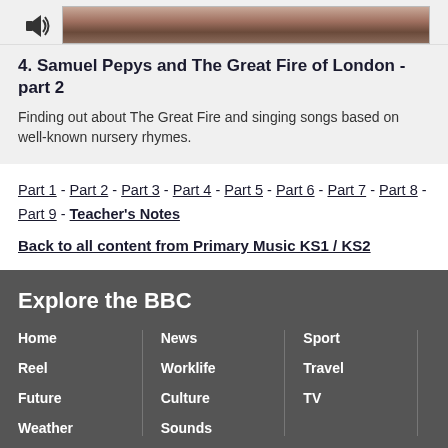[Figure (screenshot): Speaker icon and thumbnail image for audio episode]
4. Samuel Pepys and The Great Fire of London - part 2
Finding out about The Great Fire and singing songs based on well-known nursery rhymes.
Part 1 - Part 2 - Part 3 - Part 4 - Part 5 - Part 6 - Part 7 - Part 8 - Part 9 - Teacher's Notes
Back to all content from Primary Music KS1 / KS2
Explore the BBC
Home
Reel
Future
Weather
News
Worklife
Culture
Sounds
Sport
Travel
TV